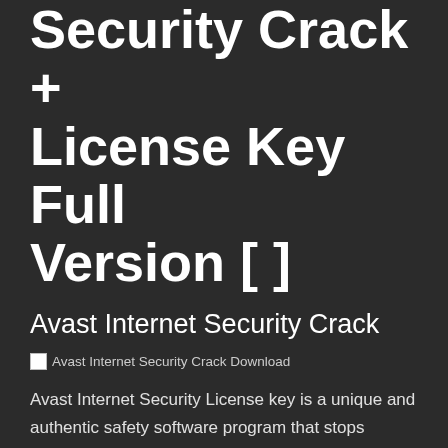Security Crack + License Key Full Version [ ]
Avast Internet Security Crack
[Figure (photo): Broken image placeholder with alt text: Avast Internet Security Crack Download]
Avast Internet Security License key is a unique and authentic safety software program that stops viruses, adware, and other malicious threats which usually had a really bad impact on your computer system. Avast internet security Crack protects against identity theft, infected websites, phishing emails, and many more. The best thing about Avast is that it comes with Safe Zone Avast, which